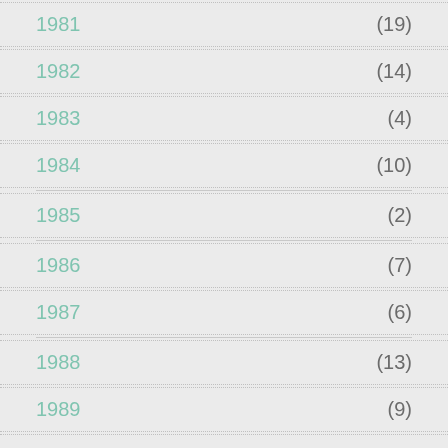1981 (19)
1982 (14)
1983 (4)
1984 (10)
1985 (2)
1986 (7)
1987 (6)
1988 (13)
1989 (9)
1990 (3)